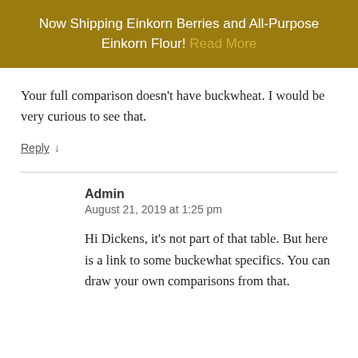Now Shipping Einkorn Berries and All-Purpose Einkorn Flour! Read More
Your full comparison doesn't have buckwheat. I would be very curious to see that.
Reply ↓
Admin
August 21, 2019 at 1:25 pm
Hi Dickens, it's not part of that table. But here is a link to some buckewhat specifics. You can draw your own comparisons from that.